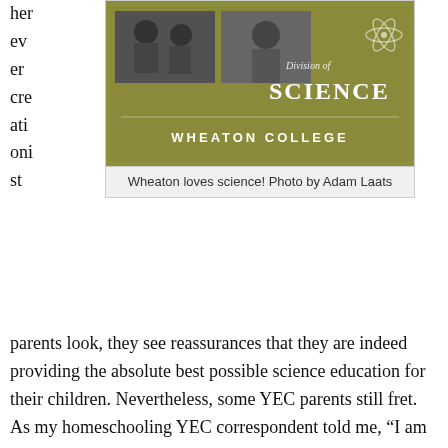her ev er cre ati oni st
[Figure (photo): Wheaton College Division of Science brochure cover with black and white photos of scientists and a science atom logo on an olive/green background. Text reads 'Division of SCIENCE WHEATON COLLEGE']
Wheaton loves science! Photo by Adam Laats
parents look, they see reassurances that they are indeed providing the absolute best possible science education for their children. Nevertheless, some YEC parents still fret. As my homeschooling YEC correspondent told me, “I am making an honest attempt to understand [evolutionary theory] so I don’t teach it incorrectly.”
Is she the only one? I doubt it. Given the amount of loud promises and expensive advertising done by schools such as Wheaton and Bob Jones U over the years, I imagine that plenty of YEC parents have shared her anxiety. Like parents everywhere, they are not willing to compromise their children’s welfare. At the same time, like YECs everywhere, they are not